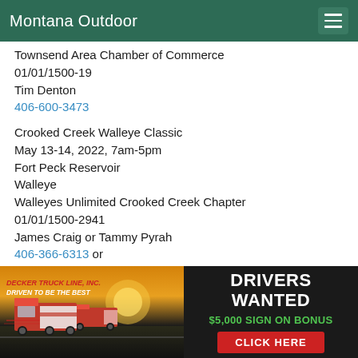Montana Outdoor
Townsend Area Chamber of Commerce
01/01/1500-19
Tim Denton
406-600-3473
Crooked Creek Walleye Classic
May 13-14, 2022, 7am-5pm
Fort Peck Reservoir
Walleye
Walleyes Unlimited Crooked Creek Chapter
01/01/1500-2941
James Craig or Tammy Pyrah
406-366-6313 or
406-366-0898
Fresno Challenge
June 11-12, 2022, 7am-4pm
[Figure (illustration): Decker Truck Line, Inc. advertisement banner. Left side shows two red semi-trucks against a golden sunrise sky with text 'DECKER TRUCK LINE, INC. DRIVEN TO BE THE BEST'. Right side on dark background reads 'DRIVERS WANTED', '$5,000 SIGN ON BONUS', and a red button 'CLICK HERE'.]